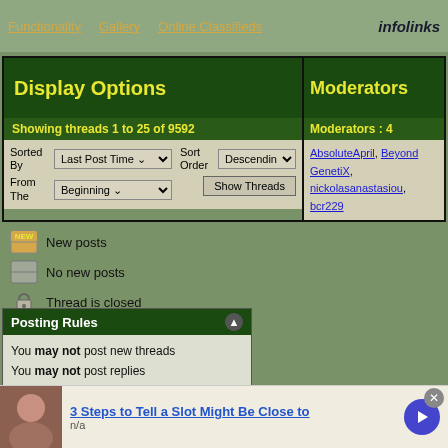Functionality | Gallery | Online Classifieds | infolinks
Display Options
Moderators
Showing threads 1 to 25 of 9592
Moderators : 4
Sorted By: Last Post Time | Sort Order: Descending | From The: Beginning | Show Threads
AbsoluteApril, Beyond GenetiX, nickolasanastasiou, bcr229
New posts
No new posts
Thread is closed
Posting Rules
You may not post new threads
You may not post replies
You may not post attachments
You may not edit your posts
3 Steps to Tell a Slot Might Be Close to
n/a